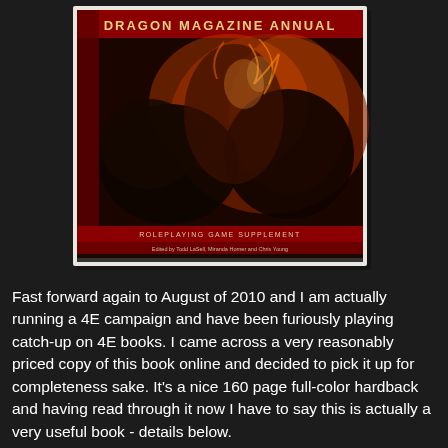[Figure (photo): A photograph of the Dragon Magazine Annual roleplaying game supplement book cover. The cover features dramatic fantasy artwork with monsters/creatures and fire in red and dark tones. Text on cover reads 'Dragon Magazine Annual' and 'Roleplaying Game Supplement'.]
Fast forward again to August of 2010 and I am actually running a 4E campaign and have been furiously playing catch-up on 4E books. I came across a very reasonably priced copy of this book online and decided to pick it up for completeness sake. It's a nice 160 page full-color hardback and having read through it now I have to say this is actually a very useful book - details below.